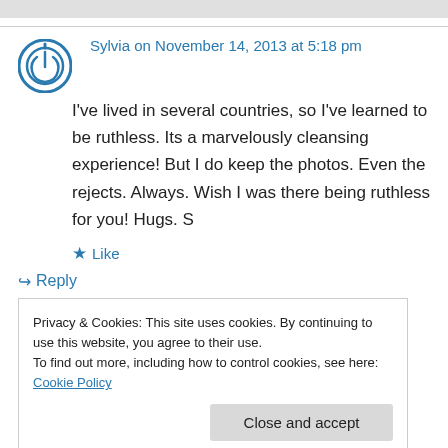Sylvia on November 14, 2013 at 5:18 pm
I've lived in several countries, so I've learned to be ruthless. Its a marvelously cleansing experience! But I do keep the photos. Even the rejects. Always. Wish I was there being ruthless for you! Hugs. S
★ Like
↳ Reply
Privacy & Cookies: This site uses cookies. By continuing to use this website, you agree to their use.
To find out more, including how to control cookies, see here: Cookie Policy
Close and accept
I'm looking to you frequent movers and